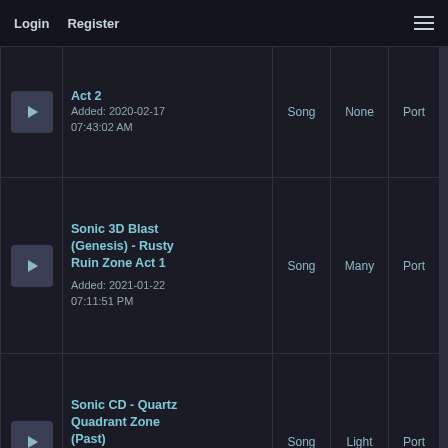Login   Register
| Thumb | Title/Date | Type | Difficulty | Platform |  |
| --- | --- | --- | --- | --- | --- |
| [play] | Act 2
Added: 2020-02-17 07:43:02 AM | Song | None | Port |  |
| [play] | Sonic 3D Blast (Genesis) - Rusty Ruin Zone Act 1
Added: 2021-01-22 07:11:51 PM | Song | Many | Port | 1 |
| [play] | Sonic CD - Quartz Quadrant Zone (Past)
Added: 2020-07-07 07:41:53 PM | Song | Light | Port | 1 |
|  |  |  |  |  |  |